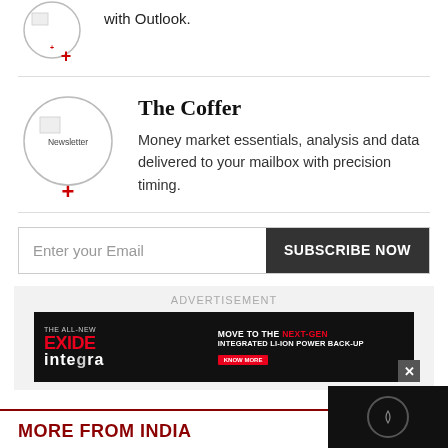with Outlook.
The Coffer
Money market essentials, analysis and data delivered to your mailbox with precision timing.
Enter your Email
SUBSCRIBE NOW
ADVERTISEMENT
[Figure (illustration): Exide Integra advertisement banner: dark background with product image, text 'THE ALL-NEW EXIDE integra', 'MOVE TO THE NEXT-GEN INTEGRATED LI-ION POWER BACK-UP', 'KNOW MORE' button]
MORE FROM INDIA